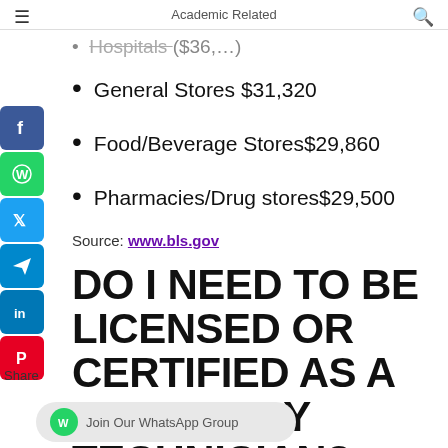Academic Related
Hospitals (partial/cut off)
General Stores $31,320
Food/Beverage Stores$29,860
Pharmacies/Drug stores$29,500
Source: www.bls.gov
DO I NEED TO BE LICENSED OR CERTIFIED AS A PHARMACY TECHNICIAN?